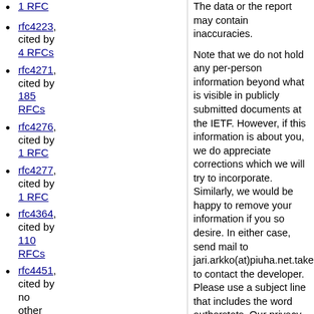1 RFC
rfc4223, cited by 4 RFCs
rfc4271, cited by 185 RFCs
rfc4276, cited by 1 RFC
rfc4277, cited by 1 RFC
rfc4364, cited by 110 RFCs
rfc4451, cited by no other RFCs
rfc4456, cited by 19 RFCs
rfc4664
The data or the report may contain inaccuracies.

Note that we do not hold any per-person information beyond what is visible in publicly submitted documents at the IETF. However, if this information is about you, we do appreciate corrections which we will try to incorporate. Similarly, we would be happy to remove your information if you so desire. In either case, send mail to jari.arkko(at)piuha.net.takeaway to contact the developer. Please use a subject line that includes the word authorstats. Our privacy policy can be found in here.